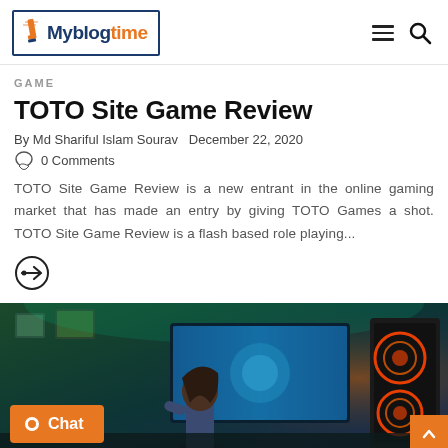Myblogtime
GAME
TOTO Site Game Review
By Md Shariful Islam Sourav   December 22, 2020
0 Comments
TOTO Site Game Review is a new entrant in the online gaming market that has made an entry by giving TOTO Games a shot. TOTO Site Game Review is a flash based role playing...
[Figure (illustration): Read more arrow-circle icon]
[Figure (photo): A gamer sitting at a PC setup with multiple screens in a dark room with colorful lighting, orange Chat button overlay in bottom left, orange back-to-top button in bottom right]